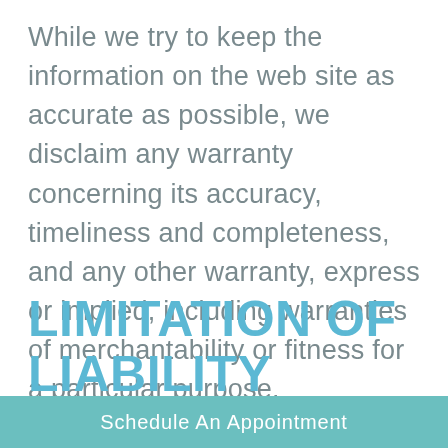While we try to keep the information on the web site as accurate as possible, we disclaim any warranty concerning its accuracy, timeliness and completeness, and any other warranty, express or implied, including warranties of merchantability or fitness for a particular purpose.
LIMITATION OF LIABILITY
Th...
Schedule An Appointment